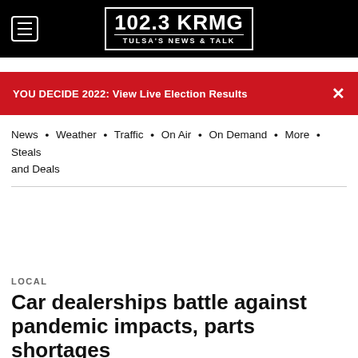102.3 KRMG TULSA'S NEWS & TALK
YOU DECIDE 2022: View Live Election Results ×
News • Weather • Traffic • On Air • On Demand • More • Steals and Deals
LOCAL
Car dealerships battle against pandemic impacts, parts shortages